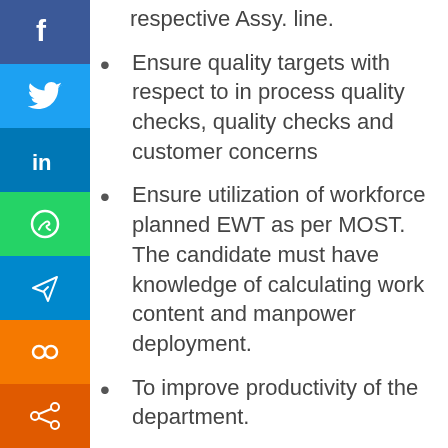respective Assy. line.
Ensure quality targets with respect to in process quality checks, quality checks and customer concerns
Ensure utilization of workforce planned EWT as per MOST. The candidate must have knowledge of calculating work content and manpower deployment.
To improve productivity of the department.
Ensure implementation of the new initiatives at the respective Assy. Lines e.g. TPM, Cost reduction, to reduce NVA's and others.
Ensure FIFO and roll down to RFD lead-